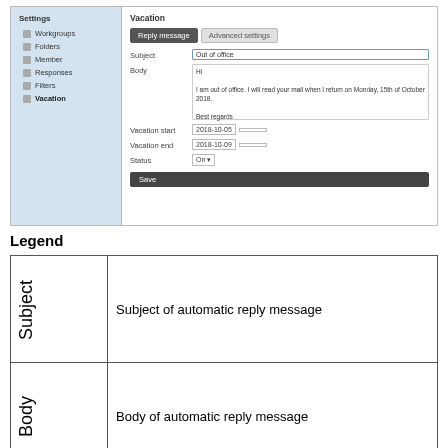[Figure (screenshot): Screenshot of a web application Settings > Vacation page showing a 'Reply message' tab with fields for Subject (Out of office), Body (email text), Vacation start (2018-10-05), Vacation end (2018-10-09), Status (On), and a Save button. Left navigation shows Workgroups, Folders, Member, Responses, Filters, Vacation menu items.]
Legend
|  |  |
| --- | --- |
| Subject | Subject of automatic reply message |
| Body | Body of automatic reply message |